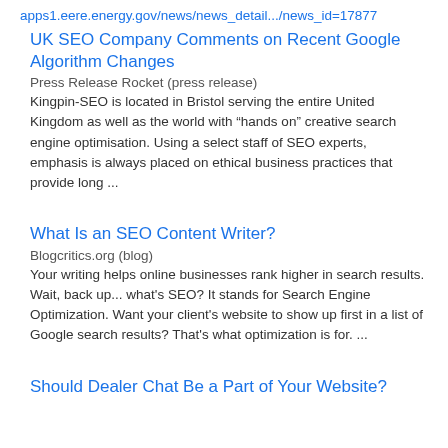apps1.eere.energy.gov/news/news_detail.../news_id=17877
UK SEO Company Comments on Recent Google Algorithm Changes
Press Release Rocket (press release)
Kingpin-SEO is located in Bristol serving the entire United Kingdom as well as the world with “hands on” creative search engine optimisation. Using a select staff of SEO experts, emphasis is always placed on ethical business practices that provide long ...
What Is an SEO Content Writer?
Blogcritics.org (blog)
Your writing helps online businesses rank higher in search results. Wait, back up... what's SEO? It stands for Search Engine Optimization. Want your client's website to show up first in a list of Google search results? That's what optimization is for. ...
Should Dealer Chat Be a Part of Your Website?